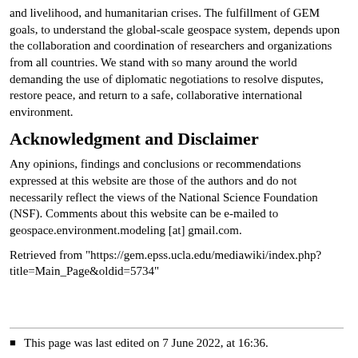and livelihood, and humanitarian crises. The fulfillment of GEM goals, to understand the global-scale geospace system, depends upon the collaboration and coordination of researchers and organizations from all countries. We stand with so many around the world demanding the use of diplomatic negotiations to resolve disputes, restore peace, and return to a safe, collaborative international environment.
Acknowledgment and Disclaimer
Any opinions, findings and conclusions or recommendations expressed at this website are those of the authors and do not necessarily reflect the views of the National Science Foundation (NSF). Comments about this website can be e-mailed to geospace.environment.modeling [at] gmail.com.
Retrieved from "https://gem.epss.ucla.edu/mediawiki/index.php?title=Main_Page&oldid=5734"
This page was last edited on 7 June 2022, at 16:36.